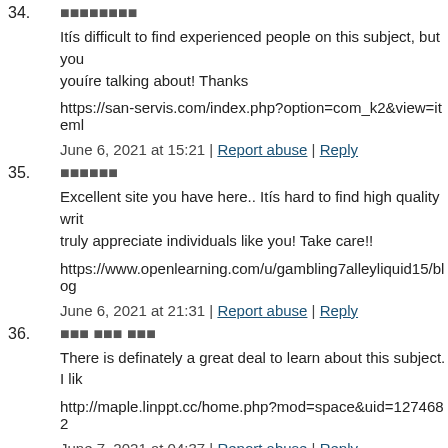34. ████████
Itís difficult to find experienced people on this subject, but youíre talking about! Thanks
https://san-servis.com/index.php?option=com_k2&view=iteml
June 6, 2021 at 15:21 | Report abuse | Reply
35. ██████
Excellent site you have here.. Itís hard to find high quality writ truly appreciate individuals like you! Take care!!
https://www.openlearning.com/u/gambling7alleyliquid15/blog
June 6, 2021 at 21:31 | Report abuse | Reply
36. ███ ███ ███
There is definately a great deal to learn about this subject. I lik
http://maple.linppt.cc/home.php?mod=space&uid=1274682
June 7, 2021 at 04:37 | Report abuse | Reply
37. ████████
Aw, this was an extremely nice post. Finding the time and actu